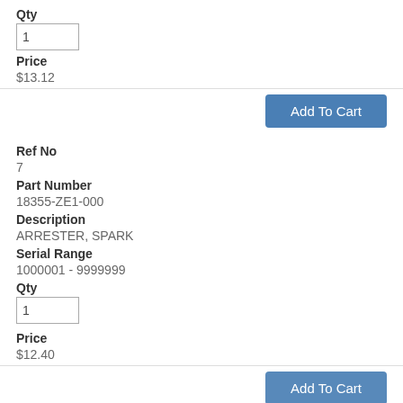Qty
1
Price
$13.12
Add To Cart
Ref No
7
Part Number
18355-ZE1-000
Description
ARRESTER, SPARK
Serial Range
1000001 - 9999999
Qty
1
Price
$12.40
Add To Cart